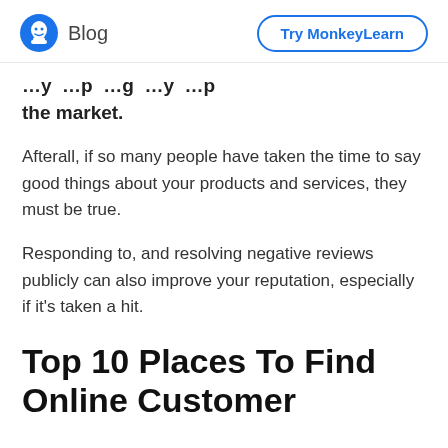Blog | Try MonkeyLearn
…y …p …g …y …p the market.
Afterall, if so many people have taken the time to say good things about your products and services, they must be true.
Responding to, and resolving negative reviews publicly can also improve your reputation, especially if it's taken a hit.
Top 10 Places To Find Online Customer